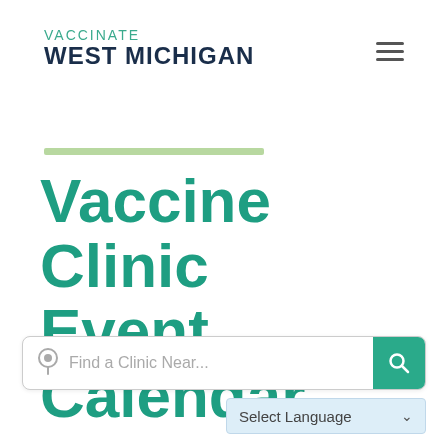VACCINATE WEST MICHIGAN
Vaccine Clinic Event Calendar
Find a Clinic Near...
Select Language